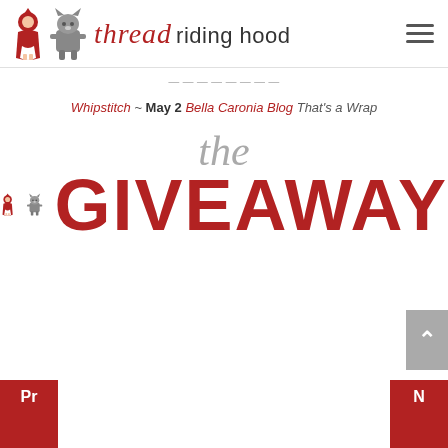thread riding hood
Whipstitch ~ May 2 Bella Caronia Blog That's a Wrap
[Figure (logo): The Giveaway logo with Red Riding Hood and Wolf characters, 'the' in gray script and 'GIVEAWAY' in large red bold text]
Pr  N